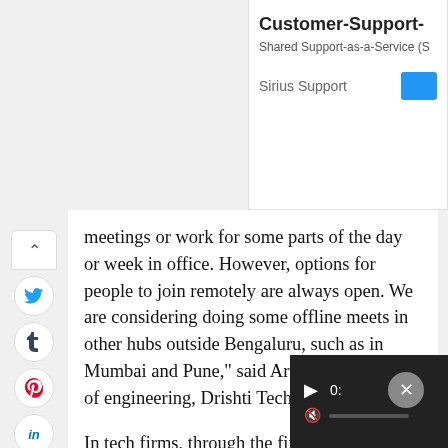Customer-Support-
Shared Support-as-a-Service (S
Sirius Support
meetings or work for some parts of the day or week in office. However, options for people to join remotely are always open. We are considering doing some offline meets in other hubs outside Bengaluru, such as in Mumbai and Pune," said Arvind Saraf, head of engineering, Drishti Technologies.
In tech firms, through the first and second waves, engineers who were managing servers and infrastructure came to office regularly. By the end of the second wave senior and mid-management staff also worked from office. However, it is the